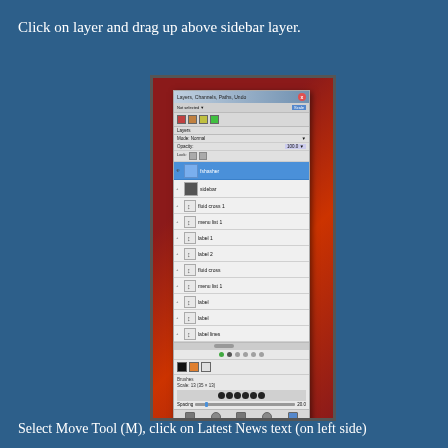Click on layer and drag up above sidebar layer.
[Figure (screenshot): GIMP layers panel screenshot showing a tall narrow panel with multiple layers listed. The topmost layer 'fshasher' is selected in blue. Below it are layers including 'sidebar', 'fluid cross 1', 'menu list 1', 'label 1', 'label 2', 'fluid cross', 'menu list 1', 'label', 'label', and 'label lines'. The panel also shows brushes section at the bottom with brush size controls, brush shape icons, and spacing slider.]
Select Move Tool (M), click on Latest News text (on left side)